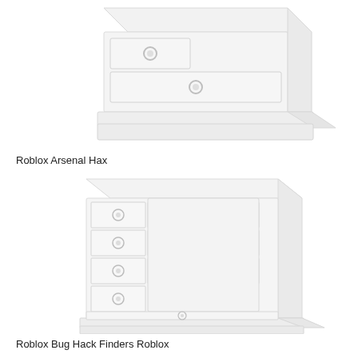[Figure (illustration): Light gray/white illustration of a dresser/chest of drawers viewed at an angle, showing partial top portion with two drawers visible, each with circular ring pulls. The image is cropped at the top.]
Roblox Arsenal Hax
[Figure (illustration): Light gray/white illustration of a chest of drawers/dresser viewed at an angle, showing multiple rows of drawers (4 rows, with smaller drawers on the left and a large panel on the right side). Each drawer has circular ring pulls. The dresser sits on a base/plinth.]
Roblox Bug Hack Finders Roblox